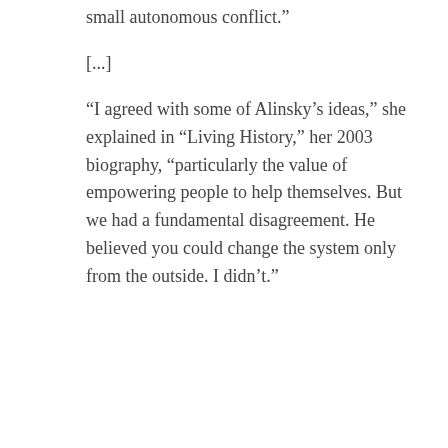small autonomous conflict.”
[...]
“I agreed with some of Alinsky’s ideas,” she explained in “Living History,” her 2003 biography, “particularly the value of empowering people to help themselves. But we had a fundamental disagreement. He believed you could change the system only from the outside. I didn’t.”